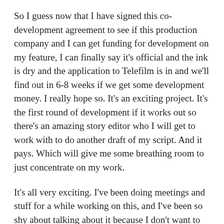So I guess now that I have signed this co-development agreement to see if this production company and I can get funding for development on my feature, I can finally say it's official and the ink is dry and the application to Telefilm is in and we'll find out in 6-8 weeks if we get some development money. I really hope so. It's an exciting project. It's the first round of development if it works out so there's an amazing story editor who I will get to work with to do another draft of my script. And it pays. Which will give me some breathing room to just concentrate on my work.
It's all very exciting. I've been doing meetings and stuff for a while working on this, and I've been so shy about talking about it because I don't want to jinx it. But I have a good feeling about it. There's so much more about this I could talk about, but I like to keep a bit of mystery. Which probably sounds funny since this blog exists and I blab about it on Facebook. But I've learned to keep things...